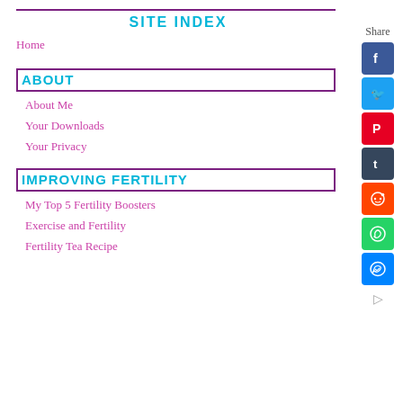SITE INDEX
Home
ABOUT
About Me
Your Downloads
Your Privacy
IMPROVING FERTILITY
My Top 5 Fertility Boosters
Exercise and Fertility
Fertility Tea Recipe